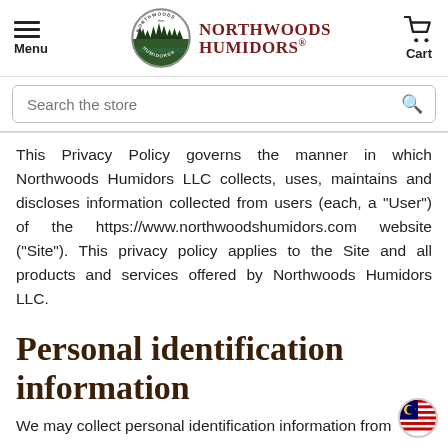[Figure (logo): Northwoods Humidors logo with circular emblem and brand name text]
This Privacy Policy governs the manner in which Northwoods Humidors LLC collects, uses, maintains and discloses information collected from users (each, a "User") of the https://www.northwoodshumidors.com website ("Site"). This privacy policy applies to the Site and all products and services offered by Northwoods Humidors LLC.
Personal identification information
We may collect personal identification information from